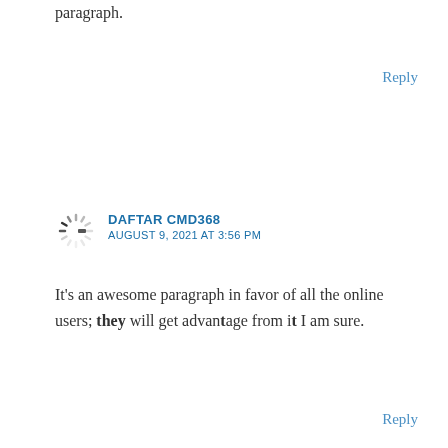paragraph.
Reply
[Figure (illustration): Loading spinner icon (circular dashed loader graphic)]
DAFTAR CMD368
AUGUST 9, 2021 AT 3:56 PM
It's an awesome paragraph in favor of all the online users; they will get advantage from it I am sure.
Reply